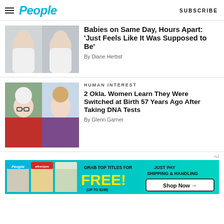People — SUBSCRIBE
[Figure (photo): Two newborn babies being held by adults, swaddled in blankets]
Babies on Same Day, Hours Apart: 'Just Feels Like It Was Supposed to Be'
By Diane Herbst
HUMAN INTEREST
[Figure (photo): Two women side by side — one with white hair and glasses, one with blonde hair]
2 Okla. Women Learn They Were Switched at Birth 57 Years Ago After Taking DNA Tests
By Glenn Garner
[Figure (infographic): Advertisement banner: People and allrecipes magazine covers. 'GRAB TOP TITLES FOR FREE! (UP TO $100) JUST PAY SHIPPING & HANDLING Shop Now →']